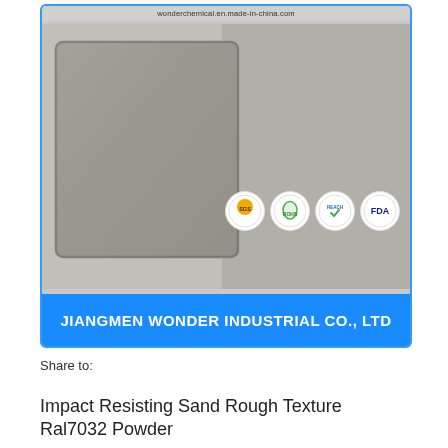[Figure (photo): Product photo of powder coat paint sample panels showing RAL7032 sand rough texture finish. Blue border frame with certification badges (SGS, ROHS, REACH, FDA) and company banner 'JIANGMEN WONDER INDUSTRIAL CO., LTD' at bottom. URL 'wonderchemical.en.made-in-china.com' at top.]
Share to:
Impact Resisting Sand Rough Texture Ral7032 Powder